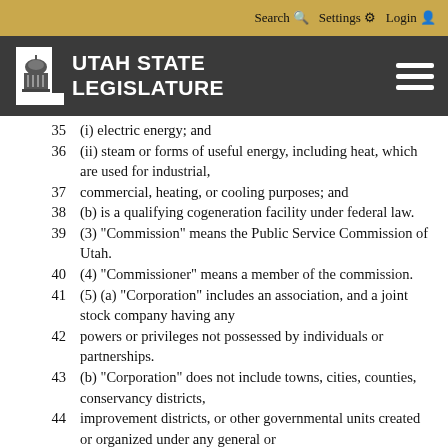Search  Settings  Login
[Figure (logo): Utah State Legislature logo with capitol building icon on dark background]
35     (i) electric energy; and
36     (ii) steam or forms of useful energy, including heat, which are used for industrial,
37     commercial, heating, or cooling purposes; and
38     (b) is a qualifying cogeneration facility under federal law.
39     (3) "Commission" means the Public Service Commission of Utah.
40     (4) "Commissioner" means a member of the commission.
41     (5) (a) "Corporation" includes an association, and a joint stock company having any
42     powers or privileges not possessed by individuals or partnerships.
43     (b) "Corporation" does not include towns, cities, counties, conservancy districts,
44     improvement districts, or other governmental units created or organized under any general or
45     special law of this state.